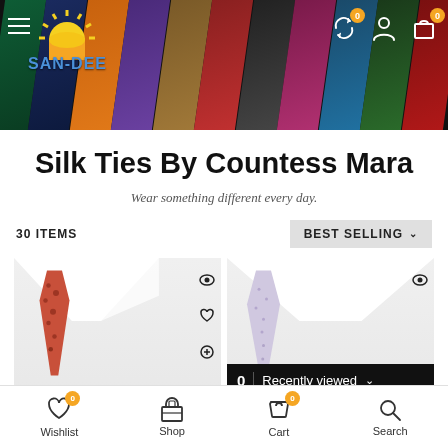[Figure (screenshot): E-commerce website header with colorful silk ties banner, SAN-DEE logo with sun graphic, hamburger menu, and header icons with notification badges showing 0]
Silk Ties By Countess Mara
Wear something different every day.
30 ITEMS
BEST SELLING
[Figure (photo): Red/pink leopard print silk tie on white shirt collar, with eye and heart icons on the side]
[Figure (photo): Light pink/lavender dotted silk tie on white shirt collar, with eye icon]
0 | Recently viewed
Wishlist
Shop
Cart
Search